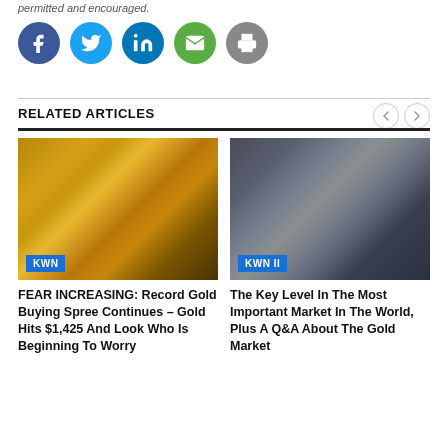permitted and encouraged.
[Figure (infographic): Social media sharing icons: Facebook (blue circle with f), Twitter (light blue circle with bird), LinkedIn (blue circle with in), Email (green circle with envelope), Print (grey circle with printer)]
RELATED ARTICLES
[Figure (photo): Close-up photo of gold coins and currency bills stacked together with KWN badge overlay]
FEAR INCREASING: Record Gold Buying Spree Continues – Gold Hits $1,425 And Look Who Is Beginning To Worry
[Figure (photo): Stock trader in trading floor wearing headset, looking up with concern, with KWN II badge overlay]
The Key Level In The Most Important Market In The World, Plus A Q&A About The Gold Market